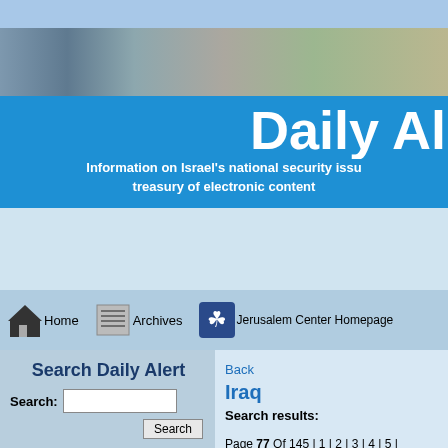[Figure (screenshot): Website header banner with photo strip and blue background reading 'Daily Al' (truncated) with subtitle about Israel national security]
Information on Israel's national security issue treasury of electronic content
[Figure (screenshot): Navigation bar with Home, Archives, Jerusalem Center Homepage icons]
Search Daily Alert
Search:
Jewish
Back
Iraq
Search results:
Page 77 Of 145 | 1 | 2 | 3 | 4 | 5 | 20 | 21 | 22 | 23 | 24 | 25 | 26 |